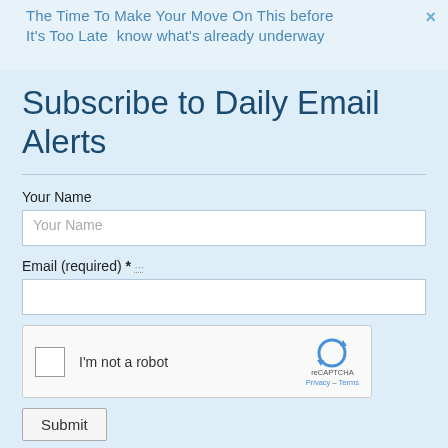The Time To Make Your Move On This before It's Too Late know what's already underway
Subscribe to Daily Email Alerts
Your Name
Email (required) *
[Figure (other): reCAPTCHA widget with checkbox labeled 'I'm not a robot' and reCAPTCHA logo with Privacy - Terms links]
Submit
By submitting this form, you are consenting to receive marketing emails from: News With Views, P.O. Box 990, Spring Branch, TX, 78070-9998,